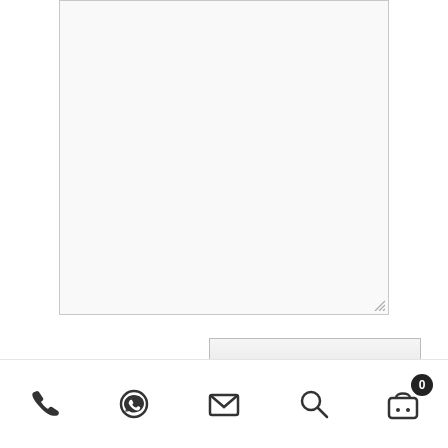[Figure (screenshot): A textarea input box with light gray background and resize handle at bottom-right corner]
Submit
End of the Dress Detail of Black Straight Kameez Embellished Neckline – Red Shalwar n Dupatta
Related products
[Figure (photo): Partial photo of a model wearing dark clothing, cropped at bottom of page]
Navigation icons: phone, WhatsApp, email, search, cart (0)